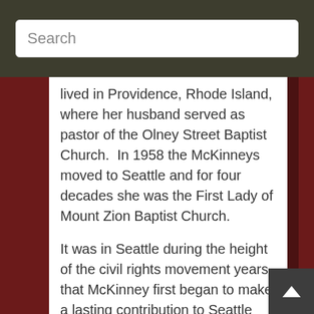Search
lived in Providence, Rhode Island, where her husband served as pastor of the Olney Street Baptist Church.  In 1958 the McKinneys moved to Seattle and for four decades she was the First Lady of Mount Zion Baptist Church.
It was in Seattle during the height of the civil rights movement years that McKinney first began to make a lasting contribution to Seattle and its area schools as teacher, principal, and tireless advocate, set on improving educational opportunities for disadvantaged